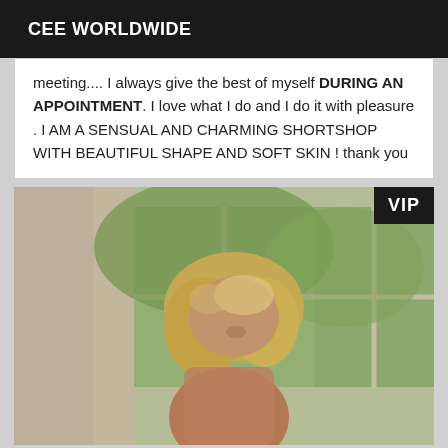CEE WORLDWIDE
meeting.... I always give the best of myself DURING AN APPOINTMENT. I love what I do and I do it with pleasure . I AM A SENSUAL AND CHARMING SHORTSHOP WITH BEAUTIFUL SHAPE AND SOFT SKIN ! thank you
[Figure (photo): Photo of a blonde woman standing near a window with garden visible in background, VIP badge in top right corner]